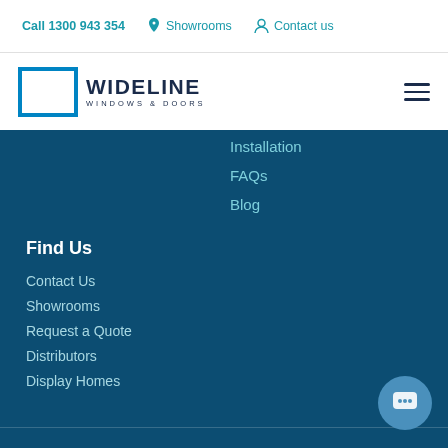Call 1300 943 354   Showrooms   Contact us
[Figure (logo): Wideline Windows & Doors logo with blue square border icon and dark text]
Installation
FAQs
Blog
Find Us
Contact Us
Showrooms
Request a Quote
Distributors
Display Homes